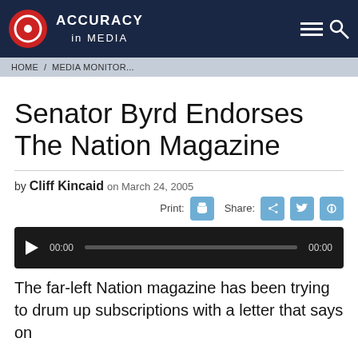ACCURACY in MEDIA
HOME / MEDIA MONITOR...
Senator Byrd Endorses The Nation Magazine
by Cliff Kincaid on March 24, 2005
[Figure (other): Audio player with play button, time display 00:00, progress bar, and end time 00:00]
The far-left Nation magazine has been trying to drum up subscriptions with a letter that says on